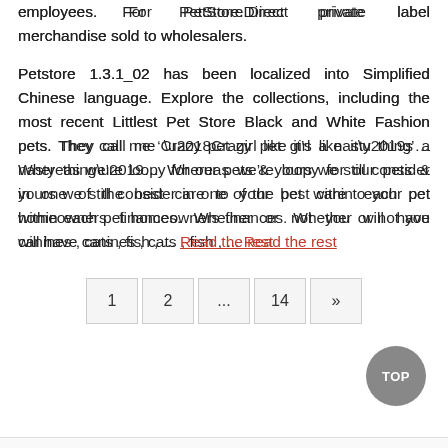employees.  For  PetStore.Direct  private  label merchandise sold to wholesalers.
Petstore 1.3.1_02 has been localized into Simplified Chinese language. Explore the collections, including the most recent Littlest Pet Store Black and White Fashion pets. They call me ‘Crazy pet girl like it’s a nasty thing’… Whereas we’re loopy for our pets & yours we still consider in one of the best care to your pet within each pet homeowners finances. Whether or not you will have canines , cats , fish , ... Read the rest
1
2
...
14
»